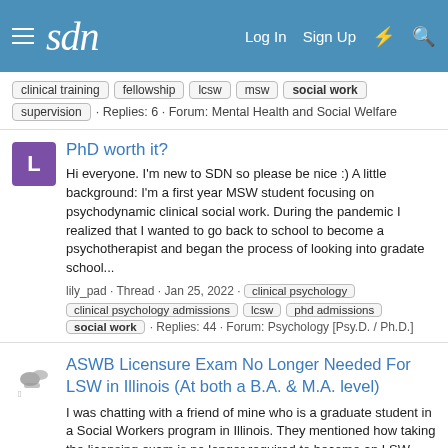sdn | Log In  Sign Up
clinical training  fellowship  lcsw  msw  social work  supervision · Replies: 6 · Forum: Mental Health and Social Welfare
PhD worth it?
Hi everyone. I'm new to SDN so please be nice :) A little background: I'm a first year MSW student focusing on psychodynamic clinical social work. During the pandemic I realized that I wanted to go back to school to become a psychotherapist and began the process of looking into gradate school...
lily_pad · Thread · Jan 25, 2022 · clinical psychology  clinical psychology admissions  lcsw  phd admissions  social work · Replies: 44 · Forum: Psychology [Psy.D. / Ph.D.]
ASWB Licensure Exam No Longer Needed For LSW in Illinois (At both a B.A. & M.A. level)
I was chatting with a friend of mine who is a graduate student in a Social Workers program in Illinois. They mentioned how taking the licensing exam is no longer required to become an LSW with your